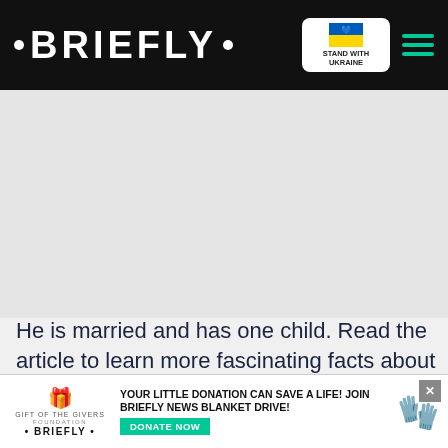• BRIEFLY • [Stand with Ukraine badge] [hamburger menu]
[Figure (screenshot): Gray advertisement/content placeholder area below header]
He is married and has one child. Read the article to learn more fascinating facts about the brilliant legal representative.
[Figure (screenshot): Video overlay: Left panel shows quote 'IT WAS TOTALLY MY FAULT' with play button and person in wheelchair. Right panel shows 'House Tour | $22 Millio...' text with nighttime house photo. Red chevron/down arrow button in center.]
[Figure (screenshot): Bottom ad banner: Gift of the Givers Foundation / Briefly logo on left; 'YOUR LITTLE DONATION CAN SAVE A LIFE! JOIN BRIEFLY NEWS BLANKET DRIVE!' text center; DONATE NOW button; hand/gift icon on right; X close button top right.]